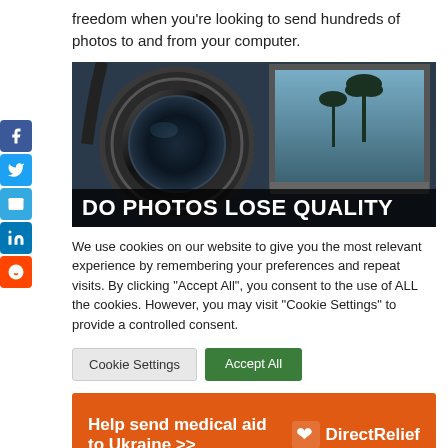freedom when you're looking to send hundreds of photos to and from your computer.
[Figure (photo): Camera lens and laptop with palm trees visible on screen. Text overlay reads 'DO PHOTOS LOSE QUALITY']
We use cookies on our website to give you the most relevant experience by remembering your preferences and repeat visits. By clicking "Accept All", you consent to the use of ALL the cookies. However, you may visit "Cookie Settings" to provide a controlled consent.
Cookie Settings | Accept All
Help send medical aid to Ukraine >> DirectRelief